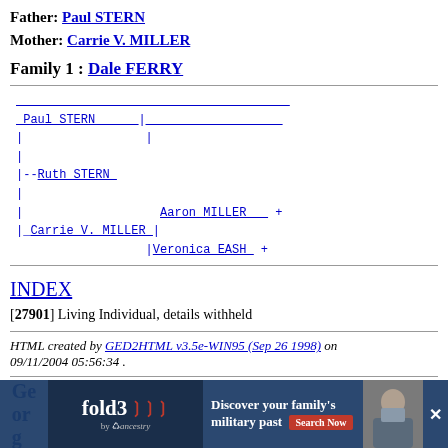Father: Paul STERN
Mother: Carrie V. MILLER
Family 1 : Dale FERRY
[Figure (other): Genealogy tree diagram showing Paul STERN, Ruth STERN, Carrie V. MILLER, Aaron MILLER, Veronica EASH linked by lines]
INDEX
[27901] Living Individual, details withheld
HTML created by GED2HTML v3.5e-WIN95 (Sep 26 1998) on 09/11/2004 05:56:34 .
[Figure (infographic): Fold3 advertisement banner: Discover your family's military past Search Now]